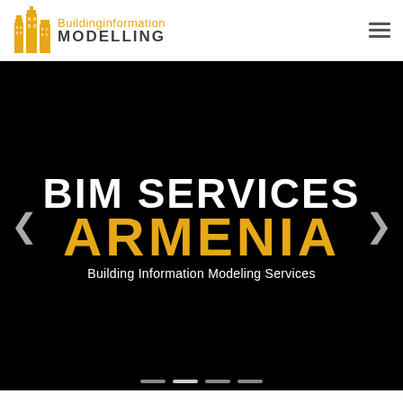[Figure (logo): Building Information Modelling logo with golden building icon and text 'Buildinginformation MODELLING']
BIM SERVICES
ARMENIA
Building Information Modeling Services